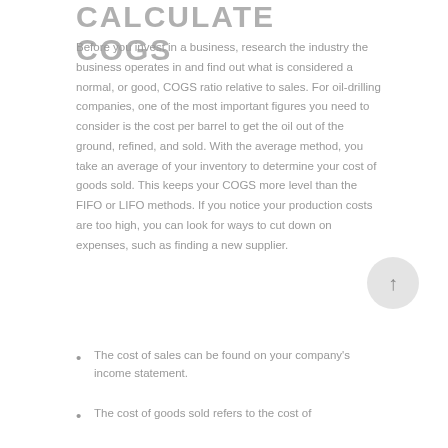CALCULATE COGS
Before you invest in a business, research the industry the business operates in and find out what is considered a normal, or good, COGS ratio relative to sales. For oil-drilling companies, one of the most important figures you need to consider is the cost per barrel to get the oil out of the ground, refined, and sold. With the average method, you take an average of your inventory to determine your cost of goods sold. This keeps your COGS more level than the FIFO or LIFO methods. If you notice your production costs are too high, you can look for ways to cut down on expenses, such as finding a new supplier.
The cost of sales can be found on your company's income statement.
The cost of goods sold refers to the cost of